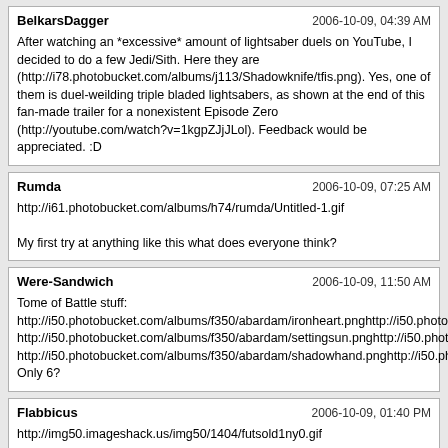BelkarsDagger | 2006-10-09, 04:39 AM
After watching an *excessive* amount of lightsaber duels on YouTube, I decided to do a few Jedi/Sith. Here they are (http://i78.photobucket.com/albums/j113/Shadowknife/tfis.png). Yes, one of them is duel-weilding triple bladed lightsabers, as shown at the end of this fan-made trailer for a nonexistent Episode Zero (http://youtube.com/watch?v=1kgpZJjJLol). Feedback would be appreciated. :D
Rumda | 2006-10-09, 07:25 AM
http://i61.photobucket.com/albums/h74/rumda/Untitled-1.gif
My first try at anything like this what does everyone think?
Were-Sandwich | 2006-10-09, 11:50 AM
Tome of Battle stuff:
http://i50.photobucket.com/albums/f350/abardam/ironheart.pnghttp://i50.photobucket.c...
http://i50.photobucket.com/albums/f350/abardam/settingsun.pnghttp://i50.photobucket...
http://i50.photobucket.com/albums/f350/abardam/shadowhand.pnghttp://i50.photobuck...
Only 6?
Flabbicus | 2006-10-09, 01:40 PM
http://img50.imageshack.us/img50/1404/futsold1ny0.gif
Skye_Armada | 2006-10-09, 08:14 PM
Amazing, Rilik.
Abardam | 2006-10-10, 04:35 AM